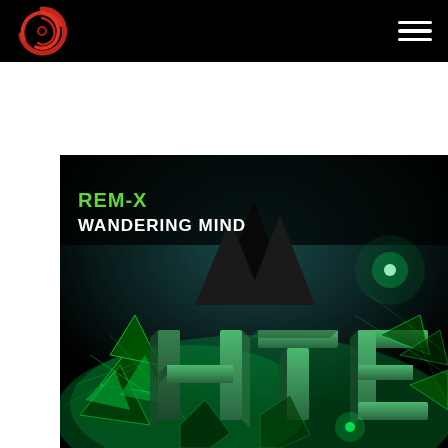[Figure (logo): Red swirling vortex/spiral logo on black navigation bar]
[Figure (illustration): Album cover art for REM-X 'Wandering Mind' on HTE label. Dark background with green neon geometric crystal/polygon shapes and large 3D letters HTE. Text overlay: REM-X in green, WANDERING MIND in white.]